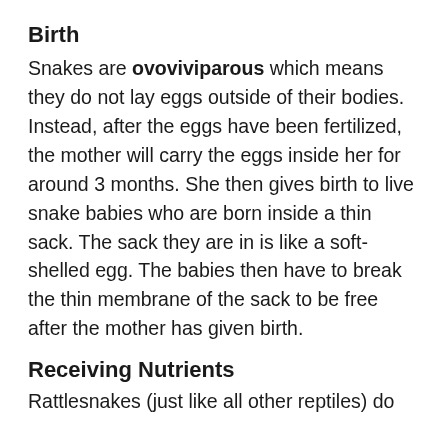Birth
Snakes are ovoviviparous which means they do not lay eggs outside of their bodies. Instead, after the eggs have been fertilized, the mother will carry the eggs inside her for around 3 months. She then gives birth to live snake babies who are born inside a thin sack. The sack they are in is like a soft-shelled egg. The babies then have to break the thin membrane of the sack to be free after the mother has given birth.
Receiving Nutrients
Rattlesnakes (just like all other reptiles) do